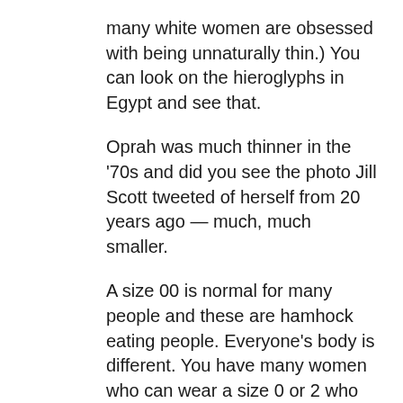many white women are obsessed with being unnaturally thin.) You can look on the hieroglyphs in Egypt and see that.
Oprah was much thinner in the ’70s and did you see the photo Jill Scott tweeted of herself from 20 years ago — much, much smaller.
A size 00 is normal for many people and these are hamhock eating people. Everyone’s body is different. You have many women who can wear a size 0 or 2 who have more curves than some plus-sized women.